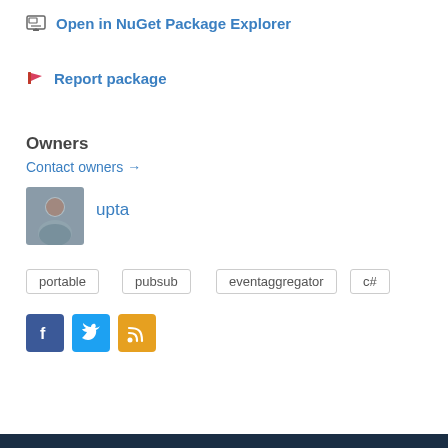Open in NuGet Package Explorer
Report package
Owners
Contact owners →
[Figure (photo): Avatar photo of user 'upta']
upta
portable
pubsub
eventaggregator
c#
[Figure (logo): Facebook, Twitter, and RSS social media icon buttons]